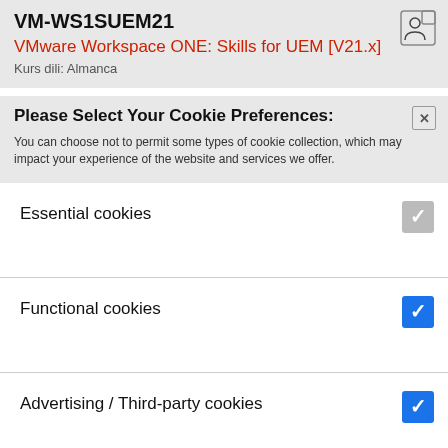VM-WS1SUEM21
VMware Workspace ONE: Skills for UEM [V21.x]
Kurs dili: Almanca
Please Select Your Cookie Preferences:
You can choose not to permit some types of cookie collection, which may impact your experience of the website and services we offer.
Essential cookies
Functional cookies
Advertising / Third-party cookies
Find out about our use of cookies
save settings